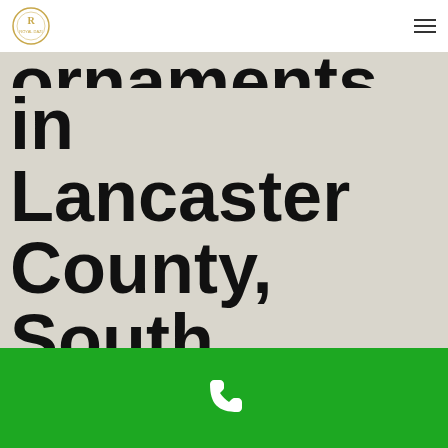Royal Dazi logo and navigation menu
in Lancaster County, South Carolina
[Figure (other): Green bar with white phone icon at the bottom of the page]